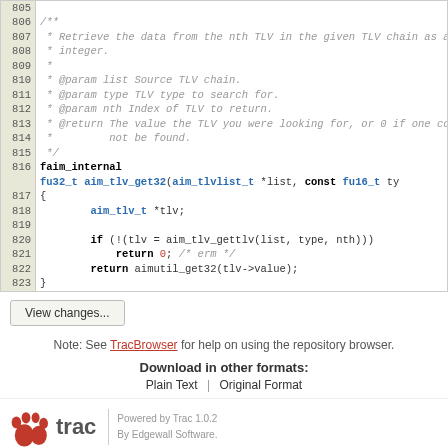[Figure (screenshot): Source code viewer showing C code lines 805-823 with line numbers, including a Doxygen comment block and function faim_internal fu32_t aim_tlv_get32]
View changes...
Note: See TracBrowser for help on using the repository browser.
Download in other formats:
Plain Text | Original Format
Powered by Trac 1.0.2
By Edgewall Software.
The photo in the BarnOwl logo is from Steve Brace on Flickr and used under CC-BY